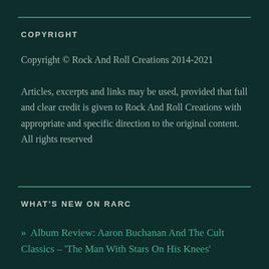COPYRIGHT
Copyright © Rock And Roll Creations 2014-2021
Articles, excerpts and links may be used, provided that full and clear credit is given to Rock And Roll Creations with appropriate and specific direction to the original content.
All rights reserved
WHAT'S NEW ON RARC
» Album Review: Aaron Buchanan And The Cult Classics – 'The Man With Stars On His Knees'